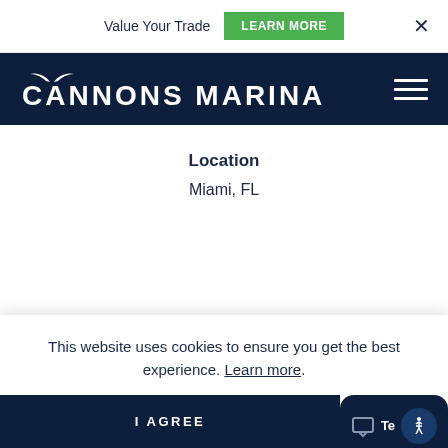Value Your Trade   LEARN MORE   ×
[Figure (logo): Cannons Marina logo — white seagull above bold white text 'CANNONS MARINA' on navy background]
Location
Miami, FL
This website uses cookies to ensure you get the best experience. Learn more.
I AGREE